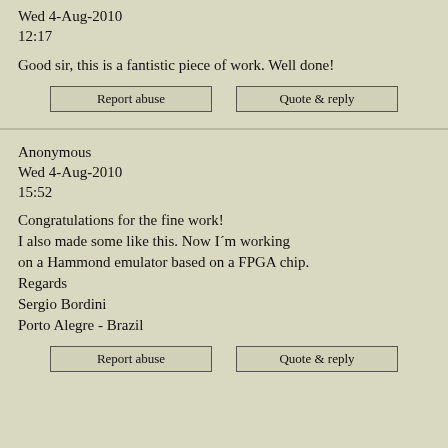Wed 4-Aug-2010
12:17
Good sir, this is a fantistic piece of work. Well done!
Anonymous
Wed 4-Aug-2010
15:52
Congratulations for the fine work!
I also made some like this. Now I´m working on a Hammond emulator based on a FPGA chip.
Regards
Sergio Bordini
Porto Alegre - Brazil